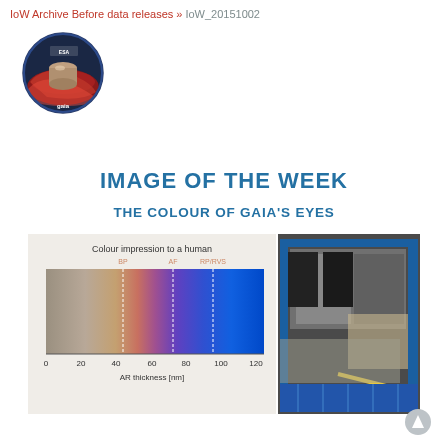IoW Archive Before data releases » IoW_20151002
[Figure (logo): ESA Gaia mission circular logo with dark blue background and red/pink swirling design around a cylindrical spacecraft component]
IMAGE OF THE WEEK
THE COLOUR OF GAIA'S EYES
[Figure (photo): Two side-by-side images: left shows a colour spectrum bar chart titled 'Colour impression to a human' with AR thickness in nm on x-axis (0 to 120), showing gradient from neutral/grey through brown/pink/purple to blue, with dashed lines marking BP, AF, and RP/RVS positions; right shows a photograph of Gaia spacecraft hardware with blue structural elements and solar panels visible]